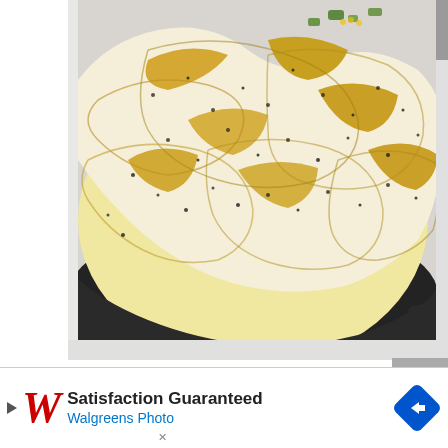[Figure (photo): Close-up overhead photo of a cast iron skillet filled with shepherd's pie topped with golden mashed potatoes sprinkled with black pepper, with green vegetables visible underneath]
[Figure (screenshot): Advertisement banner for Walgreens Photo with red W logo, text 'Satisfaction Guaranteed' in black and 'Walgreens Photo' in blue, and a blue diamond navigation arrow icon on the right]